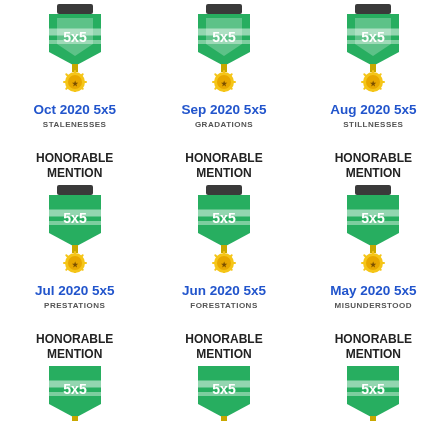[Figure (illustration): 5x5 medal badge - Oct 2020]
Oct 2020 5x5
STALENESSES
[Figure (illustration): 5x5 medal badge - Sep 2020]
Sep 2020 5x5
GRADATIONS
[Figure (illustration): 5x5 medal badge - Aug 2020]
Aug 2020 5x5
STILLNESSES
HONORABLE MENTION
[Figure (illustration): 5x5 honorable mention medal - Jul 2020]
Jul 2020 5x5
PRESTATIONS
HONORABLE MENTION
[Figure (illustration): 5x5 honorable mention medal - Jun 2020]
Jun 2020 5x5
FORESTATIONS
HONORABLE MENTION
[Figure (illustration): 5x5 honorable mention medal - May 2020]
May 2020 5x5
MISUNDERSTOOD
HONORABLE MENTION
[Figure (illustration): 5x5 honorable mention medal bottom row left]
HONORABLE MENTION
[Figure (illustration): 5x5 honorable mention medal bottom row center]
HONORABLE MENTION
[Figure (illustration): 5x5 honorable mention medal bottom row right]